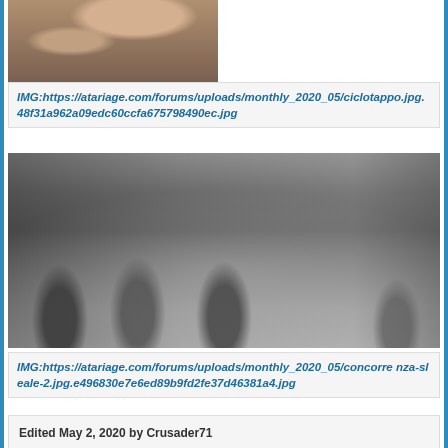[Figure (photo): Photo of a hand holding a small decorative pin or badge with colorful design, viewed from above on a surface]
IMG:https://atariage.com/forums/uploads/monthly_2020_05/ciclotappo.jpg.48f31a962a09edc60ccfa675798490ec.jpg
[Figure (photo): Black and white photograph of several young boys kneeling on the ground playing marbles on a street, chalk circles drawn on the pavement]
IMG:https://atariage.com/forums/uploads/monthly_2020_05/concorrenza-sleale-2.jpg.e496830e7e6ed89b9fd2fe37d46381a4.jpg
Edited May 2, 2020 by Crusader71